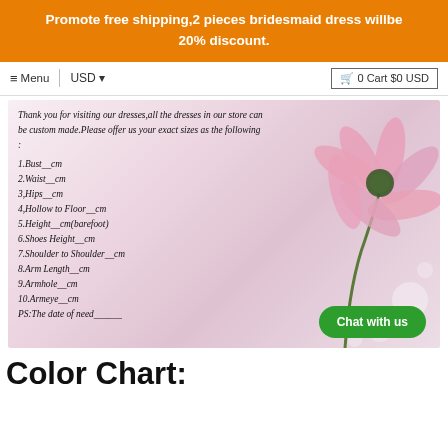Promote free shipping,2 pieces bridesmaid dress willbe 20% discount.
≡ Menu  |  USD ▾   🛒 0 Cart $0 USD
[Figure (photo): Product listing image with pink flower on bokeh background, overlaid with italic text listing custom dress measurement fields: 1.Bust__cm, 2.Waist__cm, 3.Hips__cm, 4.Hollow to Floor__cm, 5.Height__cm(barefoot), 6.Shoes Height__cm, 7.Shoulder to Shoulder__cm, 8.Arm Length__cm, 9.Armhole__cm, 10.Armeye__cm, PS:The date of need______]
Chat with us
Color Chart: